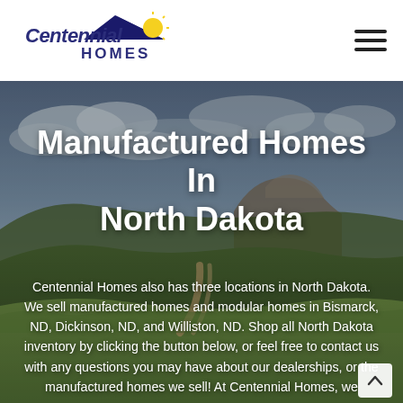Centennial Homes [logo] [hamburger menu]
[Figure (photo): Outdoor landscape photo showing rolling green hills under a dramatic cloudy sky with patches of blue, with a dirt road or path visible in the scene. Used as a hero/banner image background.]
Manufactured Homes In North Dakota
Centennial Homes also has three locations in North Dakota. We sell manufactured homes and modular homes in Bismarck, ND, Dickinson, ND, and Williston, ND. Shop all North Dakota inventory by clicking the button below, or feel free to contact us with any questions you may have about our dealerships, or the manufactured homes we sell! At Centennial Homes, we